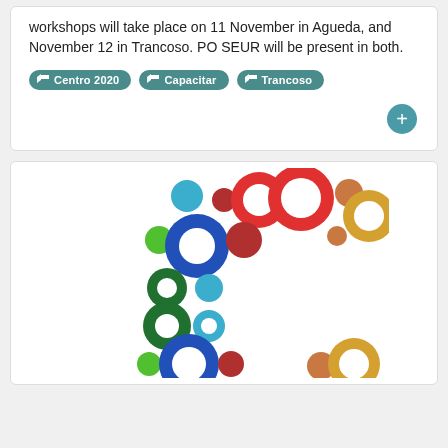workshops will take place on 11 November in Agueda, and November 12 in Trancoso. PO SEUR will be present in both.
Centro 2020
Capacitar
Trancoso
[Figure (logo): Colorful bubble/donut circle logo made of overlapping rings and circles in blue, red, green, orange, and teal colors arranged in a C-shape pattern.]